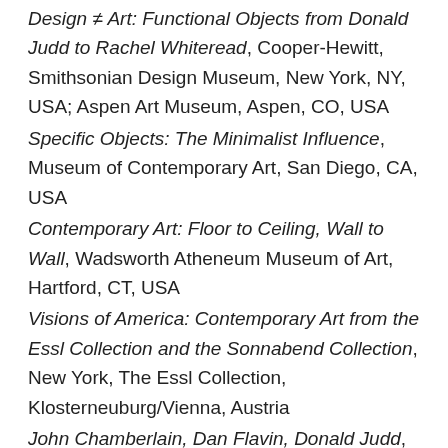Design ≠ Art: Functional Objects from Donald Judd to Rachel Whiteread, Cooper-Hewitt, Smithsonian Design Museum, New York, NY, USA; Aspen Art Museum, Aspen, CO, USA
Specific Objects: The Minimalist Influence, Museum of Contemporary Art, San Diego, CA, USA
Contemporary Art: Floor to Ceiling, Wall to Wall, Wadsworth Atheneum Museum of Art, Hartford, CT, USA
Visions of America: Contemporary Art from the Essl Collection and the Sonnabend Collection, New York, The Essl Collection, Klosterneuburg/Vienna, Austria
John Chamberlain, Dan Flavin, Donald Judd, Xavier Hufkens, Brussels, Belgium
Singular Forms (Sometimes Repeated): Art from 1951